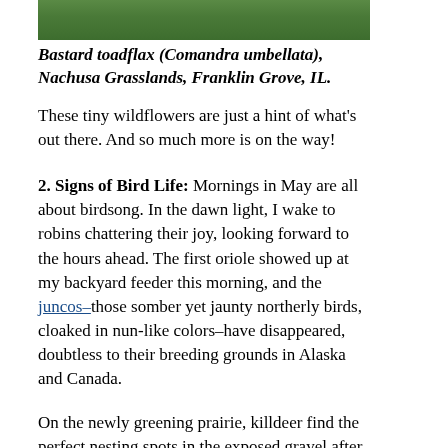[Figure (photo): Cropped top portion of a photo showing green leafy plants (bastard toadflax) at Nachusa Grasslands]
Bastard toadflax (Comandra umbellata), Nachusa Grasslands, Franklin Grove, IL.
These tiny wildflowers are just a hint of what's out there. And so much more is on the way!
2. Signs of Bird Life: Mornings in May are all about birdsong. In the dawn light, I wake to robins chattering their joy, looking forward to the hours ahead. The first oriole showed up at my backyard feeder this morning, and the juncos–those somber yet jaunty northerly birds, cloaked in nun-like colors–have disappeared, doubtless to their breeding grounds in Alaska and Canada.
On the newly greening prairie, killdeer find the perfect nesting spots in the exposed gravel after